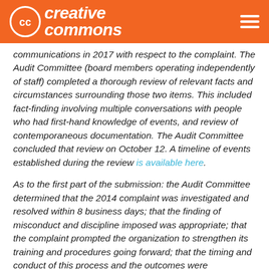Creative Commons
communications in 2017 with respect to the complaint. The Audit Committee (board members operating independently of staff) completed a thorough review of relevant facts and circumstances surrounding those two items. This included fact-finding involving multiple conversations with people who had first-hand knowledge of events, and review of contemporaneous documentation. The Audit Committee concluded that review on October 12. A timeline of events established during the review is available here.
As to the first part of the submission: the Audit Committee determined that the 2014 complaint was investigated and resolved within 8 business days; that the finding of misconduct and discipline imposed was appropriate; that the complaint prompted the organization to strengthen its training and procedures going forward; that the timing and conduct of this process and the outcomes were reasonable;